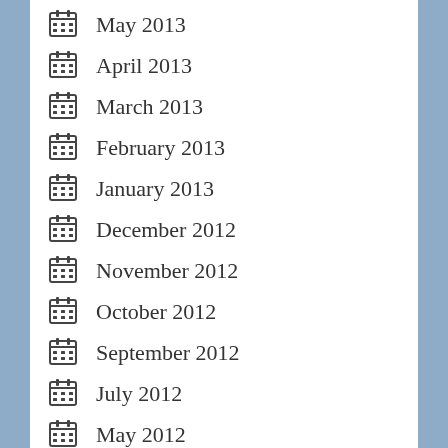May 2013
April 2013
March 2013
February 2013
January 2013
December 2012
November 2012
October 2012
September 2012
July 2012
May 2012
April 2012
March 2012
January 2012
December 2011